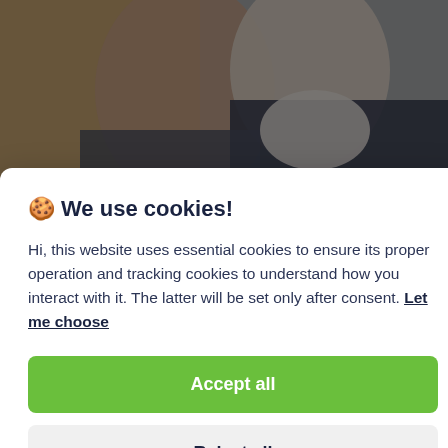[Figure (photo): Background photo showing two people close together, blurred/out of focus, one wearing a dark jacket]
🍪 We use cookies!
Hi, this website uses essential cookies to ensure its proper operation and tracking cookies to understand how you interact with it. The latter will be set only after consent. Let me choose
Accept all
Reject all